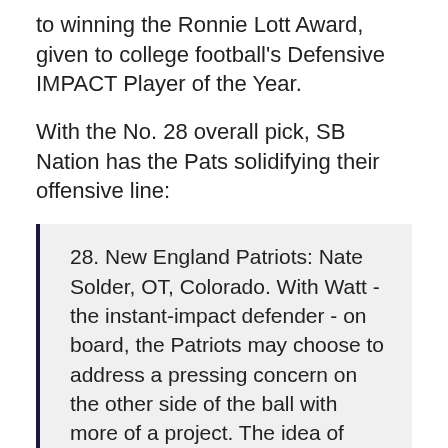to winning the Ronnie Lott Award, given to college football's Defensive IMPACT Player of the Year.
With the No. 28 overall pick, SB Nation has the Pats solidifying their offensive line:
28. New England Patriots: Nate Solder, OT, Colorado. With Watt - the instant-impact defender - on board, the Patriots may choose to address a pressing concern on the other side of the ball with more of a project. The idea of pairing Solder with Sebastian Vollmer at tackle is tantalizing.